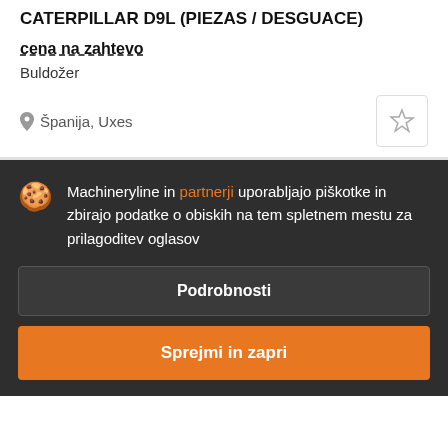CATERPILLAR D9L (PIEZAS / DESGUACE)
cena na zahtevo
Buldožer
Španija, Uxes
Machineryline in partnerji uporabljajo piškotke in zbirajo podatke o obiskih na tem spletnem mestu za prilagoditev oglasov
Podrobnosti
Sprejmi in zapri
CATERPILLAR D9L (PIEZAS / DESGUACE)
cen
Čacer nakladač